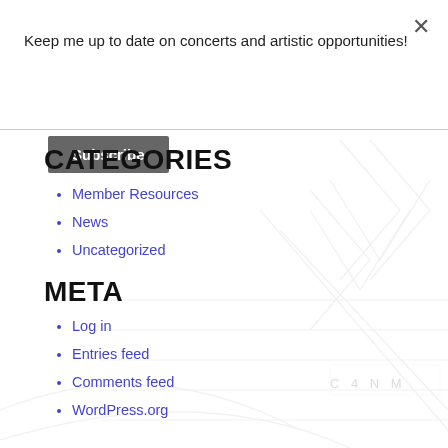Keep me up to date on concerts and artistic opportunities!
Subscribe
CATEGORIES
Member Resources
News
Uncategorized
META
Log in
Entries feed
Comments feed
WordPress.org